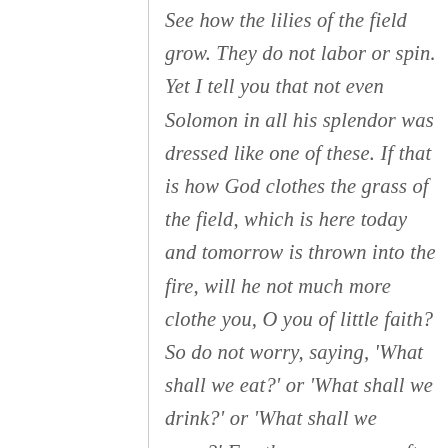See how the lilies of the field grow. They do not labor or spin. Yet I tell you that not even Solomon in all his splendor was dressed like one of these. If that is how God clothes the grass of the field, which is here today and tomorrow is thrown into the fire, will he not much more clothe you, O you of little faith? So do not worry, saying, 'What shall we eat?' or 'What shall we drink?' or 'What shall we wear?' For the pagans run after all these things, and your heavenly Father knows that you need them. But seek first his kingdom and his righteousness, and all these things will be given to you as well. Therefore do not worry about tomorrow...